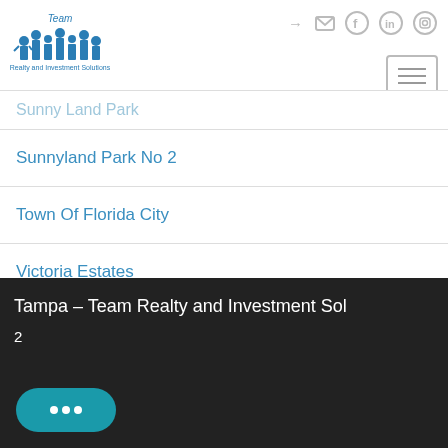[Figure (logo): Team Realty and Investment Solutions logo with blue house icons and figures]
Sunny Land Park
Sunnyland Park No 2
Town Of Florida City
Victoria Estates
Villas Of Palm Bay
Tampa - Team Realty and Investment Sol... 2